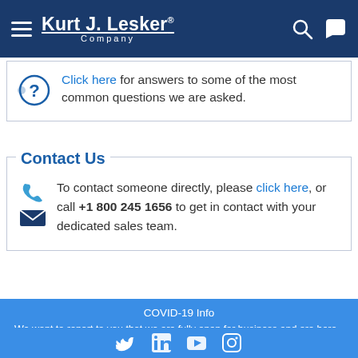Kurt J. Lesker Company
Click here for answers to some of the most common questions we are asked.
Contact Us
To contact someone directly, please click here, or call +1 800 245 1656 to get in contact with your dedicated sales team.
COVID-19 Info
We want to report to you that we are fully open for business and are here to assist in any of your vacuum technology needs. We have taken enhanced precautions to ensure that our workforce and customers are safe - LEARN MORE
Dismiss
Social media icons: Twitter, LinkedIn, YouTube, Instagram